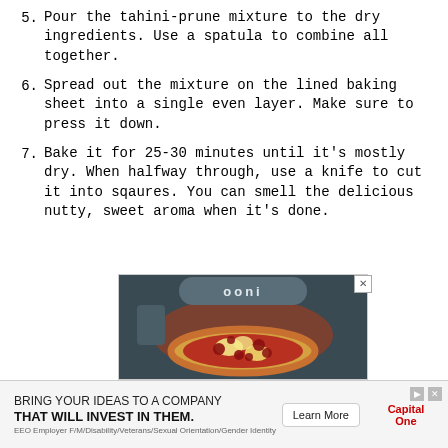5. Pour the tahini-prune mixture to the dry ingredients. Use a spatula to combine all together.
6. Spread out the mixture on the lined baking sheet into a single even layer. Make sure to press it down.
7. Bake it for 25-30 minutes until it's mostly dry. When halfway through, use a knife to cut it into sqaures. You can smell the delicious nutty, sweet aroma when it's done.
[Figure (photo): Advertisement photo of an Ooni pizza oven with a pizza inside, with an X close button in the top right corner]
[Figure (infographic): Capital One advertisement banner: 'BRING YOUR IDEAS TO A COMPANY THAT WILL INVEST IN THEM.' with Learn More button and Capital One logo. EEO Employer F/M/Disability/Veterans/Sexual Orientation/Gender Identity]